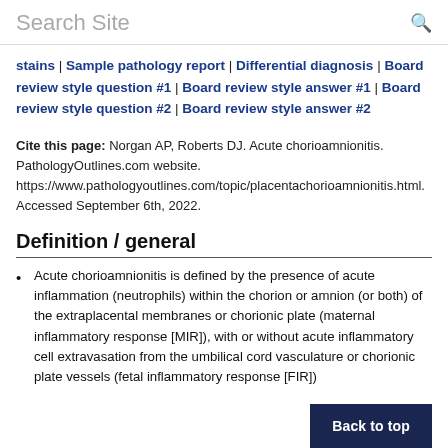Search Site
stains | Sample pathology report | Differential diagnosis | Board review style question #1 | Board review style answer #1 | Board review style question #2 | Board review style answer #2
Cite this page: Norgan AP, Roberts DJ. Acute chorioamnionitis. PathologyOutlines.com website. https://www.pathologyoutlines.com/topic/placentachorioamnionitis.html. Accessed September 6th, 2022.
Definition / general
Acute chorioamnionitis is defined by the presence of acute inflammation (neutrophils) within the chorion or amnion (or both) of the extraplacental membranes or chorionic plate (maternal inflammatory response [MIR]), with or without acute inflammatory cell extravasation from the umbilical cord vasculature or chorionic plate vessels (fetal inflammatory response [FIR])